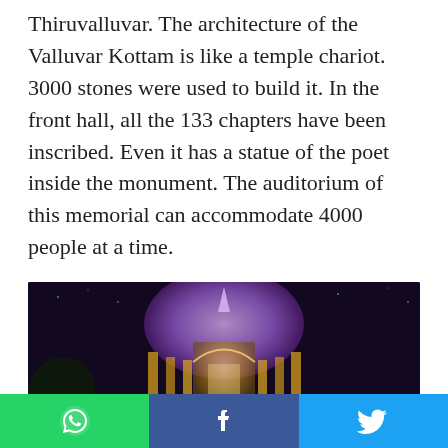Thiruvalluvar. The architecture of the Valluvar Kottam is like a temple chariot. 3000 stones were used to build it. In the front hall, all the 133 chapters have been inscribed. Even it has a statue of the poet inside the monument. The auditorium of this memorial can accommodate 4000 people at a time.
[Figure (photo): Night photograph of Valluvar Kottam monument illuminated with purple and gold lights against a dark sky, showing the temple chariot structure with ornate pillars and dome]